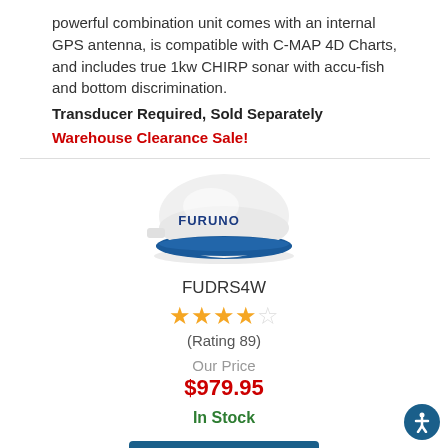powerful combination unit comes with an internal GPS antenna, is compatible with C-MAP 4D Charts, and includes true 1kw CHIRP sonar with accu-fish and bottom discrimination.
Transducer Required, Sold Separately
Warehouse Clearance Sale!
[Figure (photo): Furuno radar dome antenna unit, white and blue circular dome shape with FURUNO branding]
FUDRS4W
4.5 stars (Rating 89)
Our Price
$979.95
In Stock
VIEW DETAILS